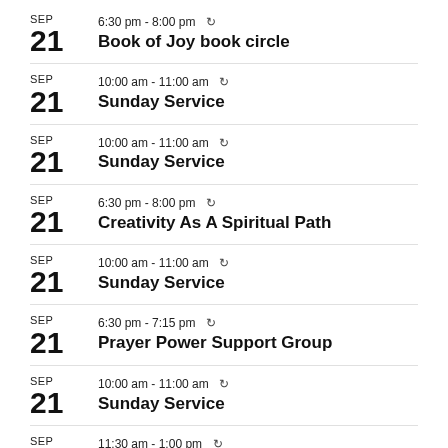SEP 21 6:30 pm - 8:00 pm Book of Joy book circle
SEP 21 10:00 am - 11:00 am Sunday Service
SEP 21 10:00 am - 11:00 am Sunday Service
SEP 21 6:30 pm - 8:00 pm Creativity As A Spiritual Path
SEP 21 10:00 am - 11:00 am Sunday Service
SEP 21 6:30 pm - 7:15 pm Prayer Power Support Group
SEP 21 10:00 am - 11:00 am Sunday Service
SEP 11:30 am - 1:00 pm